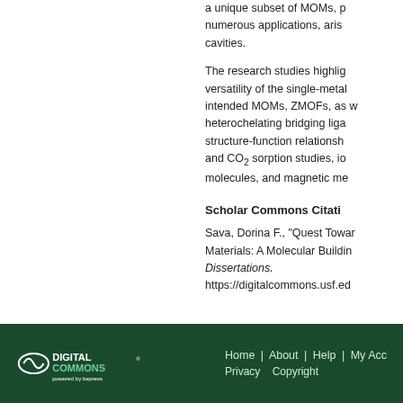a unique subset of MOMs, p numerous applications, aris cavities.
The research studies highlight versatility of the single-metal intended MOMs, ZMOFs, as w heterochelating bridging liga structure-function relationsh and CO2 sorption studies, io molecules, and magnetic me
Scholar Commons Citation
Sava, Dorina F., "Quest Toward Materials: A Molecular Building Dissertations. https://digitalcommons.usf.ed
Home | About | Help | My Account  Privacy  Copyright